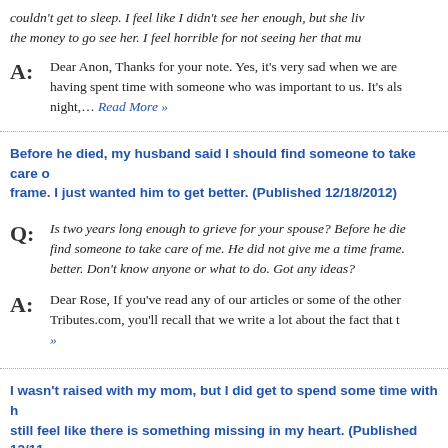couldn't get to sleep. I feel like I didn't see her enough, but she liv the money to go see her. I feel horrible for not seeing her that mu
A: Dear Anon, Thanks for your note. Yes, it's very sad when we are having spent time with someone who was important to us. It's als night,… Read More »
Before he died, my husband said I should find someone to take care o frame. I just wanted him to get better. (Published 12/18/2012)
Q: Is two years long enough to grieve for your spouse? Before he di find someone to take care of me. He did not give me a time frame. better. Don't know anyone or what to do. Got any ideas?
A: Dear Rose, If you've read any of our articles or some of the other Tributes.com, you'll recall that we write a lot about the fact that t »
I wasn't raised with my mom, but I did get to spend some time with h still feel like there is something missing in my heart. (Published 12/11